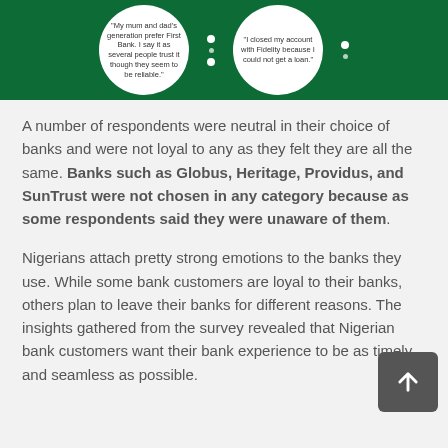[Figure (infographic): Dark green banner with two circular speech bubbles containing quotes about bank preferences, separated by decorative dots]
A number of respondents were neutral in their choice of banks and were not loyal to any as they felt they are all the same. Banks such as Globus, Heritage, Providus, and SunTrust were not chosen in any category because as some respondents said they were unaware of them.
Nigerians attach pretty strong emotions to the banks they use. While some bank customers are loyal to their banks, others plan to leave their banks for different reasons. The insights gathered from the survey revealed that Nigerian bank customers want their bank experience to be as timely and seamless as possible.